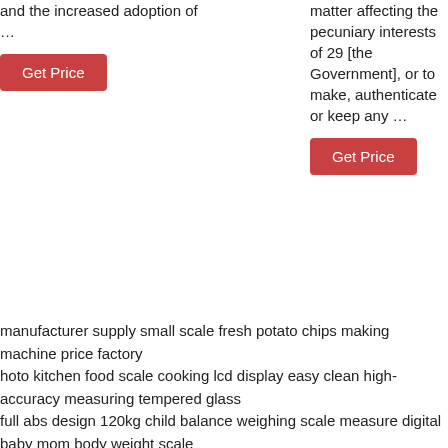and the increased adoption of …
Get Price
matter affecting the pecuniary interests of 29 [the Government], or to make, authenticate or keep any …
Get Price
manufacturer supply small scale fresh potato chips making machine price factory
hoto kitchen food scale cooking lcd display easy clean high-accuracy measuring tempered glass
full abs design 120kg child balance weighing scale measure digital baby mom body weight scale